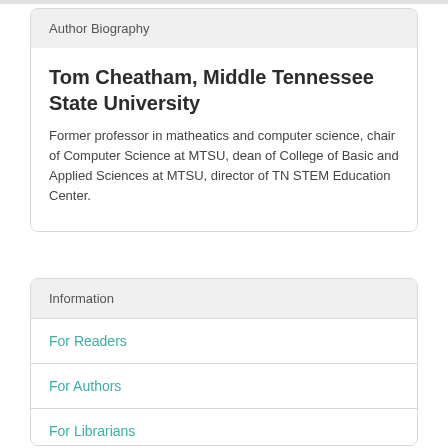Author Biography
Tom Cheatham, Middle Tennessee State University
Former professor in matheatics and computer science, chair of Computer Science at MTSU, dean of College of Basic and Applied Sciences at MTSU, director of TN STEM Education Center.
Information
For Readers
For Authors
For Librarians